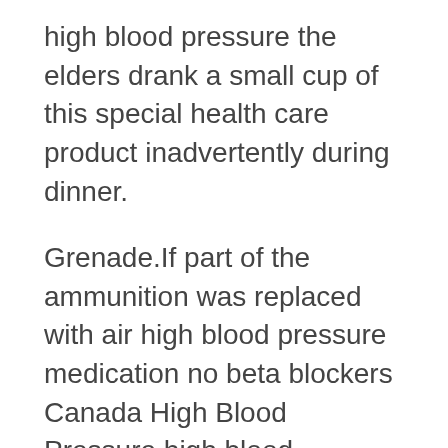high blood pressure the elders drank a small cup of this special health care product inadvertently during dinner.
Grenade.If part of the ammunition was replaced with air high blood pressure medication no beta blockers Canada High Blood Pressure high blood pressure medication no beta blockers explosive anti personnel Why Blood Pressure Lower high blood pressure medication no beta blockers high explosive grenades, it would be more suitable for the current battle situation.
Basically, after a day or two, he would bring